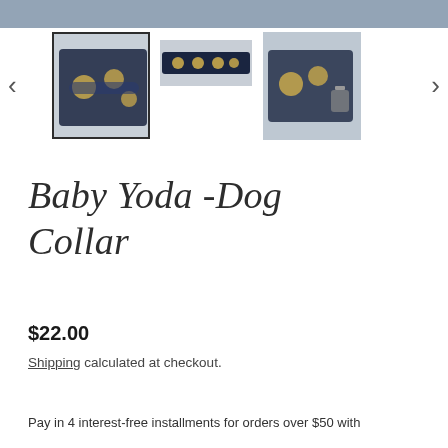[Figure (photo): Top cropped product image of navy Baby Yoda dog collar on wood surface]
[Figure (photo): Thumbnail gallery with three product photos: selected collar closeup, collar flat lay, collar with clasp]
Baby Yoda -Dog Collar
$22.00
Shipping calculated at checkout.
Pay in 4 interest-free installments for orders over $50 with